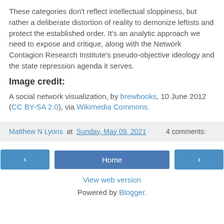These categories don't reflect intellectual sloppiness, but rather a deliberate distortion of reality to demonize leftists and protect the established order. It's an analytic approach we need to expose and critique, along with the Network Contagion Research Institute's pseudo-objective ideology and the state repression agenda it serves.
Image credit:
A social network visualization, by brewbooks, 10 June 2012 (CC BY-SA 2.0), via Wikimedia Commons.
Matthew N Lyons at Sunday, May 09, 2021    4 comments:
‹  Home  ›
View web version
Powered by Blogger.